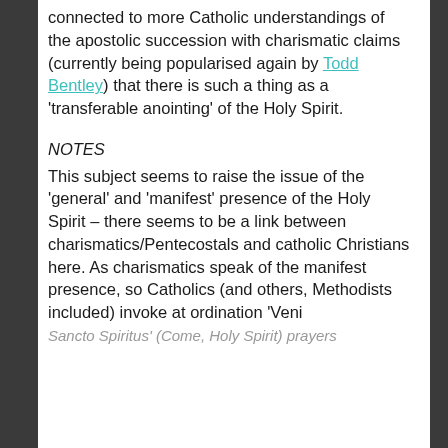connected to more Catholic understandings of the apostolic succession with charismatic claims (currently being popularised again by Todd Bentley) that there is such a thing as a 'transferable anointing' of the Holy Spirit.
NOTES
This subject seems to raise the issue of the 'general' and 'manifest' presence of the Holy Spirit – there seems to be a link between charismatics/Pentecostals and catholic Christians here. As charismatics speak of the manifest presence, so Catholics (and others, Methodists included) invoke at ordination 'Veni Sancto Spiritus' (Come, Holy Spirit) prayers